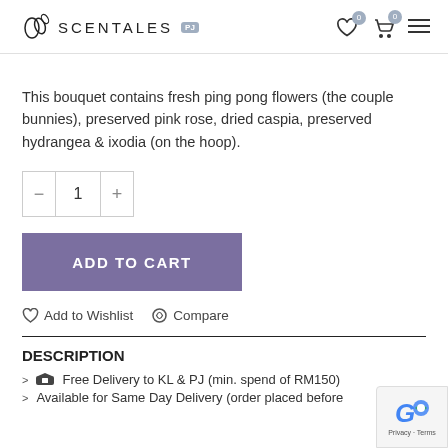SCENTALES
This bouquet contains fresh ping pong flowers (the couple bunnies), preserved pink rose, dried caspia, preserved hydrangea & ixodia (on the hoop).
Quantity selector: - 1 +
ADD TO CART
Add to Wishlist  Compare
DESCRIPTION
Free Delivery to KL & PJ (min. spend of RM150)
Available for Same Day Delivery (order placed before